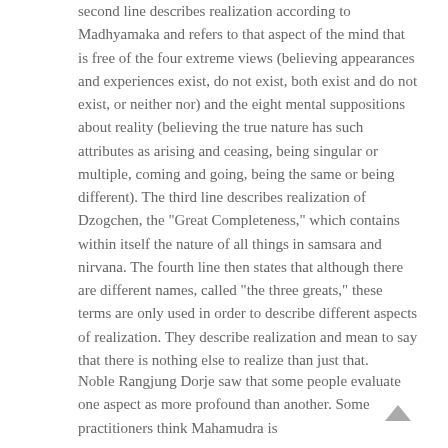second line describes realization according to Madhyamaka and refers to that aspect of the mind that is free of the four extreme views (believing appearances and experiences exist, do not exist, both exist and do not exist, or neither nor) and the eight mental suppositions about reality (believing the true nature has such attributes as arising and ceasing, being singular or multiple, coming and going, being the same or being different). The third line describes realization of Dzogchen, the "Great Completeness," which contains within itself the nature of all things in samsara and nirvana. The fourth line then states that although there are different names, called "the three greats," these terms are only used in order to describe different aspects of realization. They describe realization and mean to say that there is nothing else to realize than just that.
Noble Rangjung Dorje saw that some people evaluate one aspect as more profound than another. Some practitioners think Mahamudra is